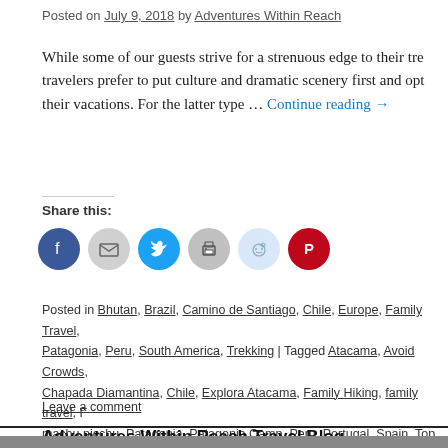Posted on July 9, 2018 by Adventures Within Reach
While some of our guests strive for a strenuous edge to their travelers prefer to put culture and dramatic scenery first and opt their vacations. For the latter type … Continue reading →
Share this:
[Figure (infographic): Social share buttons: Facebook (blue circle), Email (gray circle), Twitter (blue circle), Print (gray circle), Reddit (light blue circle), Pinterest (red circle)]
Posted in Bhutan, Brazil, Camino de Santiago, Chile, Europe, Family Travel, Patagonia, Peru, South America, Trekking | Tagged Atacama, Avoid Crowds, Chapada Diamantina, Chile, Explora Atacama, Family Hiking, family travel, machu picchu, Patagonia, Patagonia Camp, Peru, Portugal, Spain, Top Treks
Leave a comment
Adventures Within Reach Travel Blog